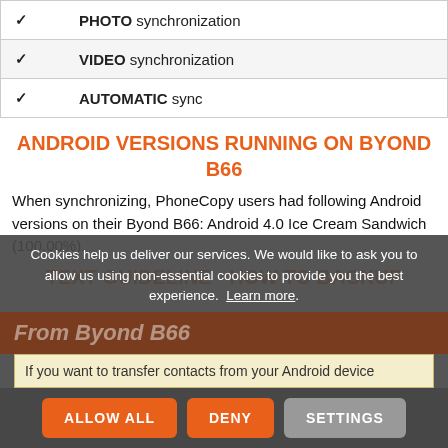| ✓ | PHOTO synchronization |
| ✓ | VIDEO synchronization |
| ✓ | AUTOMATIC sync |
ANDROID VERSIONS RUNNING ON BYOND B66
When synchronizing, PhoneCopy users had following Android versions on their Byond B66: Android 4.0 Ice Cream Sandwich (100.00%).
TEXT GUIDELINE - HOW TO BACKUP
From Byond B66
If you want to transfer contacts from your Android device
Cookies help us deliver our services. We would like to ask you to allow us using non-essential cookies to provide you the best experience. Learn more.